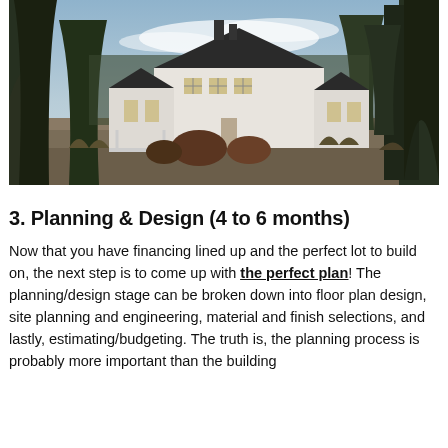[Figure (photo): Exterior photo of a large white farmhouse-style home surrounded by pine trees and brush, photographed at dusk with a blue-grey sky.]
3. Planning & Design (4 to 6 months)
Now that you have financing lined up and the perfect lot to build on, the next step is to come up with the perfect plan! The planning/design stage can be broken down into floor plan design, site planning and engineering, material and finish selections, and lastly, estimating/budgeting. The truth is, the planning process is probably more important than the building